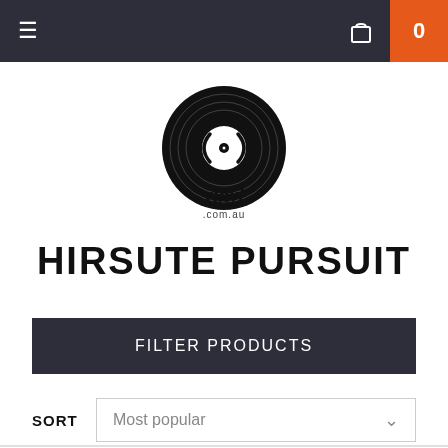≡  🛍 0
[Figure (logo): Vinyl.com.au logo — a black vinyl record with sound waves and the word 'vinyl' in script below, with '.com.au' text]
HIRSUTE PURSUIT
FILTER PRODUCTS
SORT   Most popular